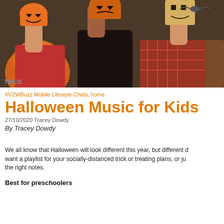[Figure (photo): Three children holding carved and decorated pumpkins over their faces, Halloween themed background with orange pumpkins and decorations]
#VZWBuzz Mobile Lifestyle Chats, home
Halloween Music for Kids
27/10/2020 Tracey Dowdy
By Tracey Dowdy
We all know that Halloween will look different this year, but different doesn't have to mean less fun. Whether you want a playlist for your socially-distanced trick or treating plans, or just a spooky evening at home, we've got the right notes.
Best for preschoolers